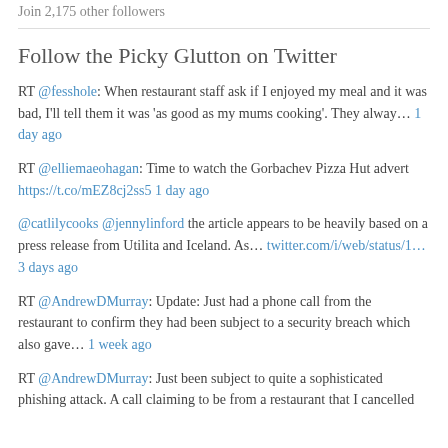Join 2,175 other followers
Follow the Picky Glutton on Twitter
RT @fesshole: When restaurant staff ask if I enjoyed my meal and it was bad, I'll tell them it was 'as good as my mums cooking'. They alway… 1 day ago
RT @elliemaeohagan: Time to watch the Gorbachev Pizza Hut advert https://t.co/mEZ8cj2ss5 1 day ago
@catlilycooks @jennylinford the article appears to be heavily based on a press release from Utilita and Iceland. As… twitter.com/i/web/status/1… 3 days ago
RT @AndrewDMurray: Update: Just had a phone call from the restaurant to confirm they had been subject to a security breach which also gave… 1 week ago
RT @AndrewDMurray: Just been subject to quite a sophisticated phishing attack. A call claiming to be from a restaurant that I cancelled